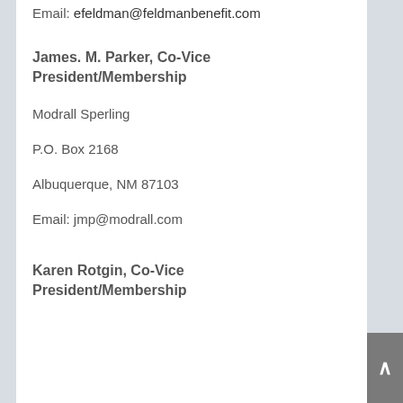Email: efeldman@feldmanbenefit.com
James. M. Parker, Co-Vice President/Membership
Modrall Sperling
P.O. Box 2168
Albuquerque, NM 87103
Email: jmp@modrall.com
Karen Rotgin, Co-Vice President/Membership